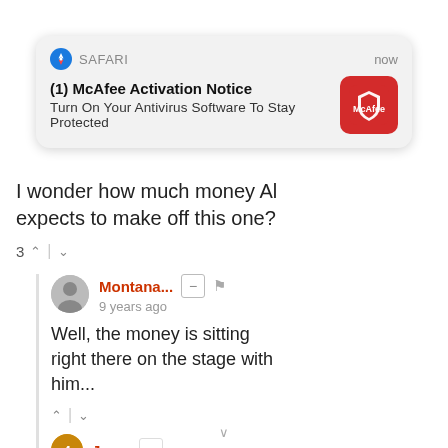[Figure (screenshot): Safari browser notification card showing McAfee Activation Notice with Safari icon, 'now' timestamp, bold title '(1) McAfee Activation Notice', subtitle 'Turn On Your Antivirus Software To Stay Protected', and red McAfee logo icon on the right.]
I wonder how much money Al expects to make off this one?
3 ^ | v
Montana...  9 years ago
Well, the money is sitting right there on the stage with him...
^ | v
Jame